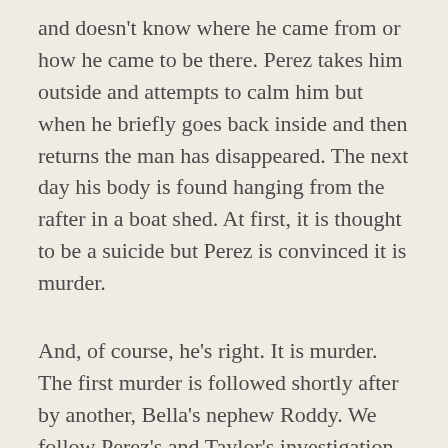and doesn't know where he came from or how he came to be there. Perez takes him outside and attempts to calm him but when he briefly goes back inside and then returns the man has disappeared. The next day his body is found hanging from the rafter in a boat shed. At first, it is thought to be a suicide but Perez is convinced it is murder.
And, of course, he's right. It is murder. The first murder is followed shortly after by another, Bella's nephew Roddy. We follow Perez's and Taylor's investigation of these murders. Cleeves spins her puzzle out leaving clues along the way, clues that don't necessarily announce themselves to the reader